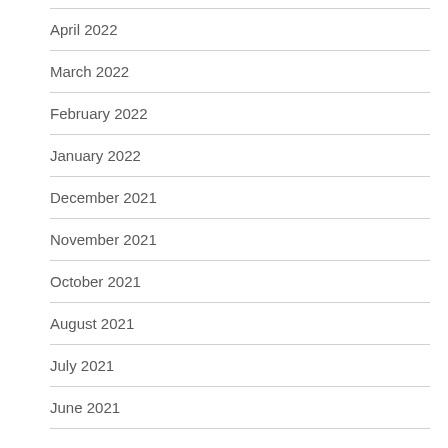April 2022
March 2022
February 2022
January 2022
December 2021
November 2021
October 2021
August 2021
July 2021
June 2021